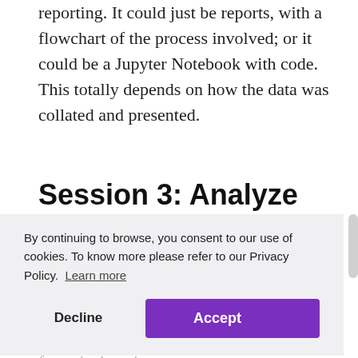reporting. It could just be reports, with a flowchart of the process involved; or it could be a Jupyter Notebook with code. This totally depends on how the data was collated and presented.
Session 3: Analyze
By continuing to browse, you consent to our use of cookies. To know more please refer to our Privacy Policy.  Learn more
Decline   Accept